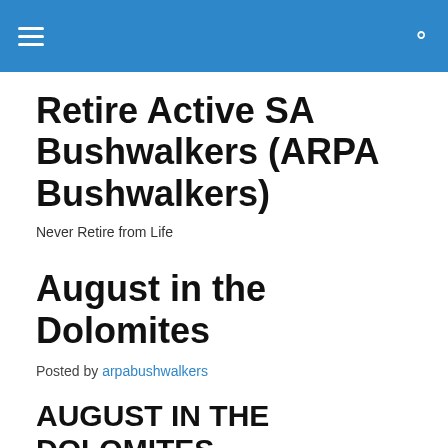≡  🔍
Retire Active SA Bushwalkers (ARPA Bushwalkers)
Never Retire from Life
August in the Dolomites
Posted by arpabushwalkers
AUGUST IN THE DOLOMITES
What a marvellous idea Milton had when, inspired by his